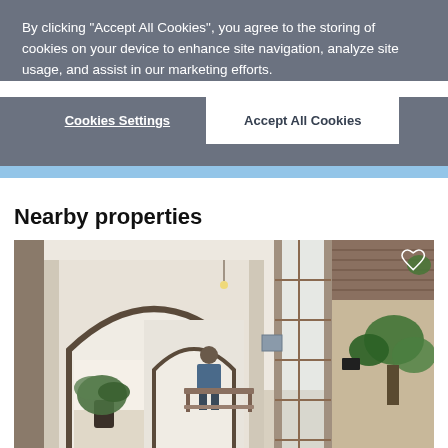By clicking "Accept All Cookies", you agree to the storing of cookies on your device to enhance site navigation, analyze site usage, and assist in our marketing efforts.
Cookies Settings
Accept All Cookies
Nearby properties
[Figure (photo): Interior of a property showing white arched doorways/hallways with a person standing at a table, large houseplants, wooden framed glass doors, and an outdoor area with tropical greenery visible on the right side. A heart/favorite icon is visible in the top right corner.]